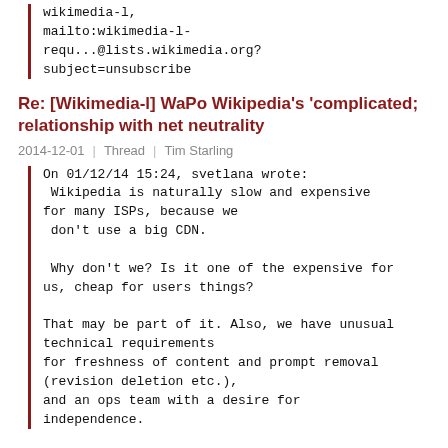wikimedia-l,
mailto:wikimedia-l-requ...@lists.wikimedia.org?subject=unsubscribe
Re: [Wikimedia-l] WaPo Wikipedia's 'complicated; relationship with net neutrality
2014-12-01  Thread  Tim Starling
On 01/12/14 15:24, svetlana wrote:
 Wikipedia is naturally slow and expensive
for many ISPs, because we
 don't use a big CDN.

 Why don't we? Is it one of the expensive for
us, cheap for users things?

That may be part of it. Also, we have unusual
technical requirements
for freshness of content and prompt removal
(revision deletion etc.),
and an ops team with a desire for
independence.